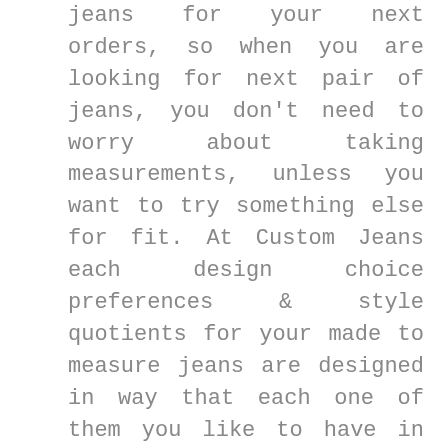jeans for your next orders, so when you are looking for next pair of jeans, you don't need to worry about taking measurements, unless you want to try something else for fit. At Custom Jeans each design choice preferences & style quotients for your made to measure jeans are designed in way that each one of them you like to have in your closet, choosing custom jeans is very difficult process for individual , but at Custom-Jeans.com We have made it very user friendly and extremely simple, the process that helps you to design your best custom fitted jeans, if you face any difficulties during selecting your custom